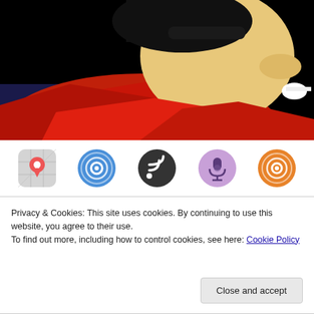[Figure (photo): Close-up profile photo of a person wearing a red scarf/clothing, dark hair, against a black background.]
[Figure (infographic): Row of five app/podcast icons: a maps location pin icon, a blue podcast/overcast icon, a dark RSS feed icon, a purple podcast microphone icon, and an orange broadcast/overcast icon.]
Privacy & Cookies: This site uses cookies. By continuing to use this website, you agree to their use.
To find out more, including how to control cookies, see here: Cookie Policy
Close and accept